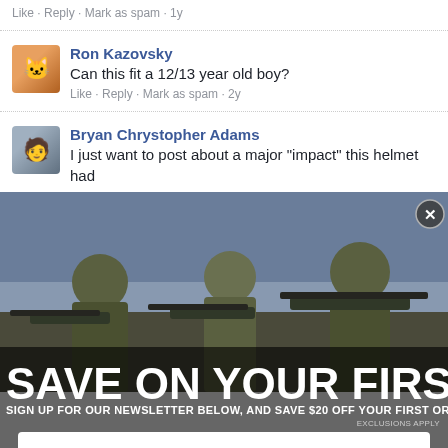Like · Reply · Mark as spam · 1y
Ron Kazovsky
Can this fit a 12/13 year old boy?
Like · Reply · Mark as spam · 2y
Bryan Chrystopher Adams
I just want to post about a major "impact" this helmet had
[Figure (screenshot): Military popup advertisement showing soldiers in combat gear with rifles, overlaid with text 'SAVE ON YOUR FIRST ORDER', subtitle 'SIGN UP FOR OUR NEWSLETTER BELOW, AND SAVE $20 OFF YOUR FIRST ORDER', email input field, and Subscribe button]